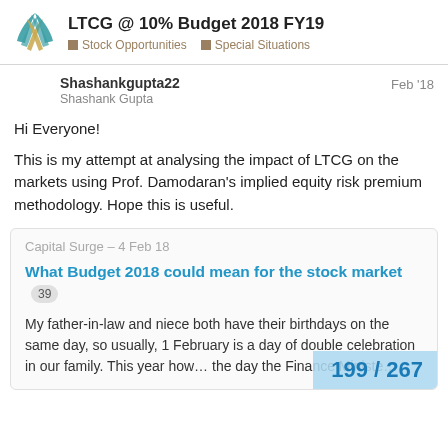LTCG @ 10% Budget 2018 FY19 | Stock Opportunities | Special Situations
Shashankgupta22
Shashank Gupta
Feb '18
Hi Everyone!
This is my attempt at analysing the impact of LTCG on the markets using Prof. Damodaran's implied equity risk premium methodology. Hope this is useful.
Capital Surge – 4 Feb 18
What Budget 2018 could mean for the stock market 39
My father-in-law and niece both have their birthdays on the same day, so usually, 1 February is a day of double celebration in our family. This year how… the day the Finance Ministe…
199 / 267